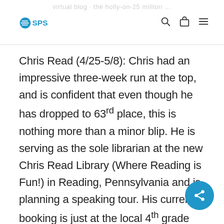SPS logo with navigation icons (search, bag, menu)
Chris Read (4/25-5/8): Chris had an impressive three-week run at the top, and is confident that even though he has dropped to 63rd place, this is nothing more than a minor blip. He is serving as the sole librarian at the new Chris Read Library (Where Reading is Fun!) in Reading, Pennsylvania and is planning a speaking tour. His current booking is just at the local 4th grade class, but that seems to be his target audience anyway.